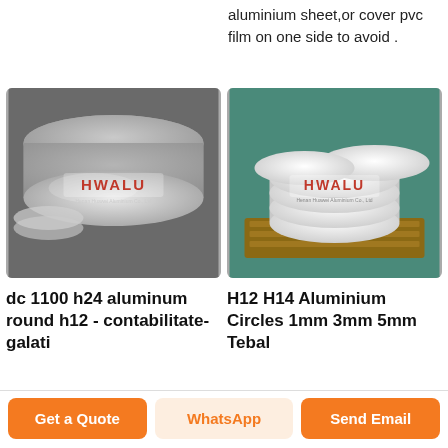aluminium sheet,or cover pvc film on one side to avoid .
[Figure (photo): Stack of shiny aluminum circular discs/rounds, HWALU branded image by Henan Huawei Aluminium Co., Ltd]
[Figure (photo): White painted aluminum circles stacked on a wooden pallet, HWALU branded image by Henan Huawei Aluminium Co., Ltd]
dc 1100 h24 aluminum round h12 - contabilitate-galati
H12 H14 Aluminium Circles 1mm 3mm 5mm Tebal
Get a Quote
WhatsApp
Send Email